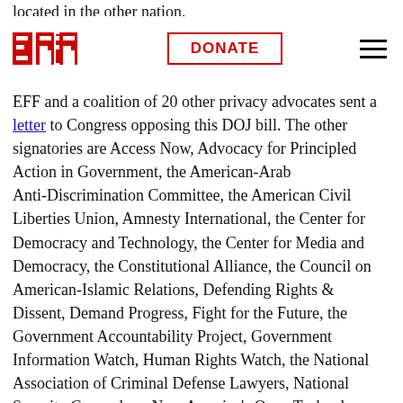EFF | DONATE
located in the other nation.
EFF and a coalition of 20 other privacy advocates sent a letter to Congress opposing this DOJ bill. The other signatories are Access Now, Advocacy for Principled Action in Government, the American-Arab Anti-Discrimination Committee, the American Civil Liberties Union, Amnesty International, the Center for Democracy and Technology, the Center for Media and Democracy, the Constitutional Alliance, the Council on American-Islamic Relations, Defending Rights & Dissent, Demand Progress, Fight for the Future, the Government Accountability Project, Government Information Watch, Human Rights Watch, the National Association of Criminal Defense Lawyers, National Security Counselors, New America's Open Technology Institute, the Project on Government Oversight, and Restore the Fourth